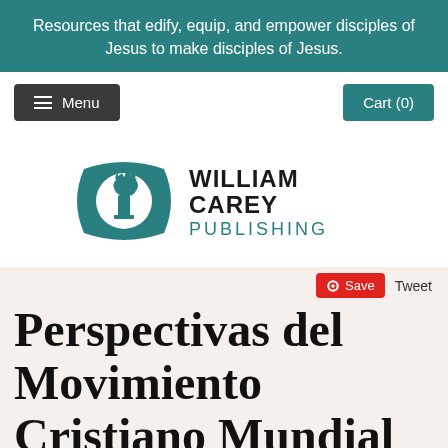Resources that edify, equip, and empower disciples of Jesus to make disciples of Jesus.
Menu
Cart (0)
[Figure (logo): William Carey Publishing logo — teal cushion-shaped emblem with white candle flame, beside bold text WILLIAM CAREY PUBLISHING in teal]
Save  Tweet
Perspectivas del Movimiento Cristiano Mundial (Selección d...